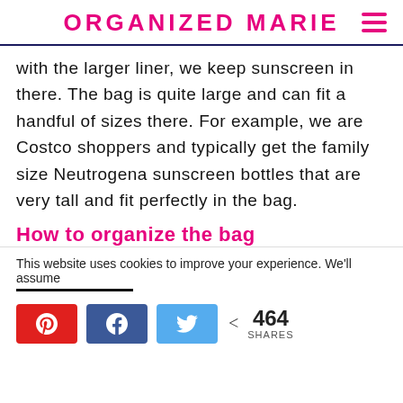ORGANIZED MARIE
With the larger liner, we keep sunscreen in there. The bag is quite large and can fit a handful of sizes there. For example, we are Costco shoppers and typically get the family size Neutrogena sunscreen bottles that are very tall and fit perfectly in the bag.
How to organize the bag
This website uses cookies to improve your experience. We'll assume
464 SHARES